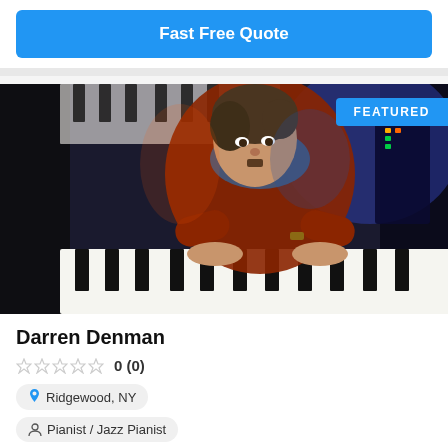Fast Free Quote
[Figure (photo): Pianist Darren Denman photographed from above, leaning over piano keys in a dark studio with keyboard equipment, wearing an orange-red sweater and blue shirt. A 'FEATURED' badge is in the upper right corner of the image.]
Darren Denman
0 (0)
Ridgewood, NY
Pianist / Jazz Pianist